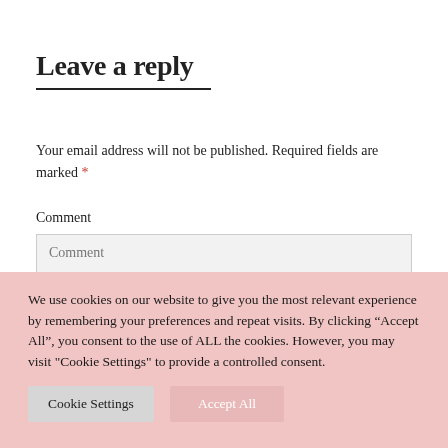Leave a reply
Your email address will not be published. Required fields are marked *
Comment
Comment
We use cookies on our website to give you the most relevant experience by remembering your preferences and repeat visits. By clicking “Accept All”, you consent to the use of ALL the cookies. However, you may visit "Cookie Settings" to provide a controlled consent.
Cookie Settings
Accept All